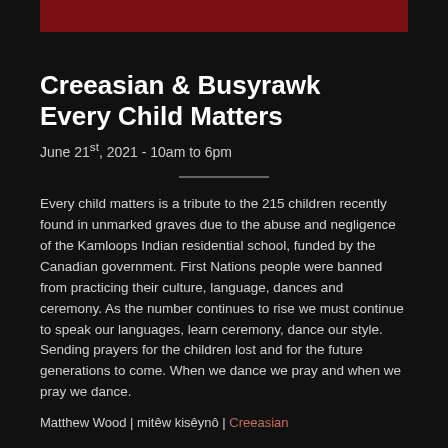Creeasian & Busyrawk Every Child Matters
June 21st, 2021 - 10am to 6pm
Every child matters is a tribute to the 215 children recently found in unmarked graves due to the abuse and negligence of the Kamloops Indian residential school, funded by the Canadian government. First Nations people were banned from practicing their culture, language, dances and ceremony. As the number continues to rise we must continue to speak our languages, learn ceremony, dance our style. Sending prayers for the children lost and for the future generations to come. When we dance we pray and when we pray we dance.
Matthew Wood | mitêw kisêynô | Creeasian